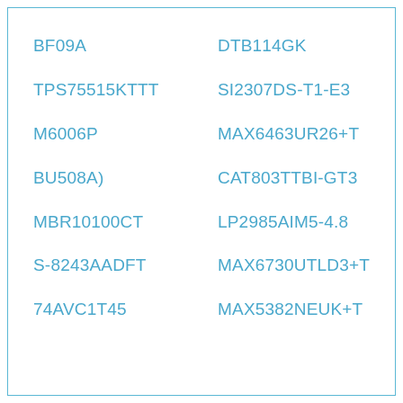BF09A
DTB114GK
TPS75515KTTT
SI2307DS-T1-E3
M6006P
MAX6463UR26+T
BU508A)
CAT803TTBI-GT3
MBR10100CT
LP2985AIM5-4.8
S-8243AADFT
MAX6730UTLD3+T
74AVC1T45
MAX5382NEUK+T